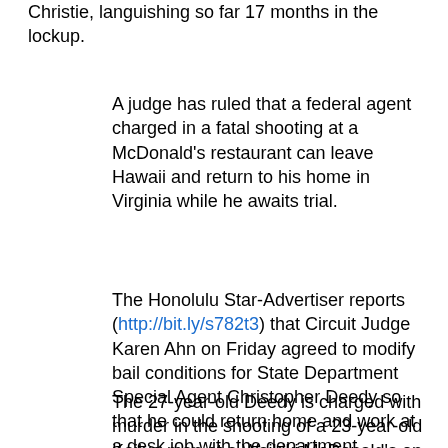Christie, languishing so far 17 months in the lockup.
A judge has ruled that a federal agent charged in a fatal shooting at a McDonald's restaurant can leave Hawaii and return to his home in Virginia while he awaits trial.
The Honolulu Star-Advertiser reports (http://bit.ly/s782t3) that Circuit Judge Karen Ahn on Friday agreed to modify bail conditions for State Department Special Agent Christopher Deedy so that he could return home and work at a desk job with the department.
The 27-year-old Deedy is charged with murder in the shooting of a 23-year-old Kailua man at a Waikiki McDonald's on Nov. 5.